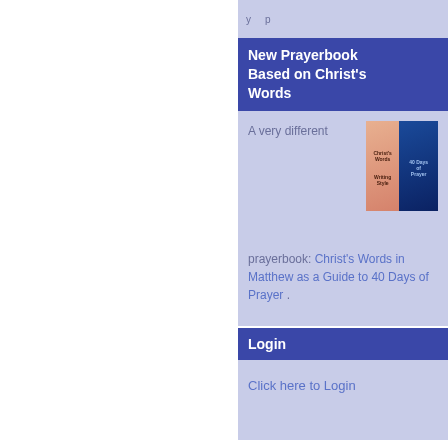y p
New Prayerbook Based on Christ's Words
A very different prayerbook: Christ's Words in Matthew as a Guide to 40 Days of Prayer .
[Figure (photo): Two book covers side by side: left book is salmon/pink colored with text about Christ's Words, right book is dark blue with text about 40 Days of Prayer]
Login
Click here to Login